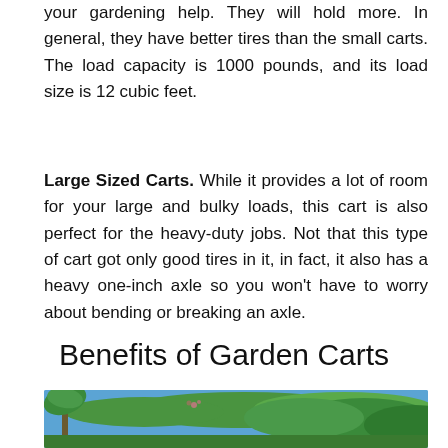your gardening help. They will hold more. In general, they have better tires than the small carts. The load capacity is 1000 pounds, and its load size is 12 cubic feet.
Large Sized Carts. While it provides a lot of room for your large and bulky loads, this cart is also perfect for the heavy-duty jobs. Not that this type of cart got only good tires in it, in fact, it also has a heavy one-inch axle so you won't have to worry about bending or breaking an axle.
Benefits of Garden Carts
[Figure (photo): Photograph of trees with green foliage against a blue sky]